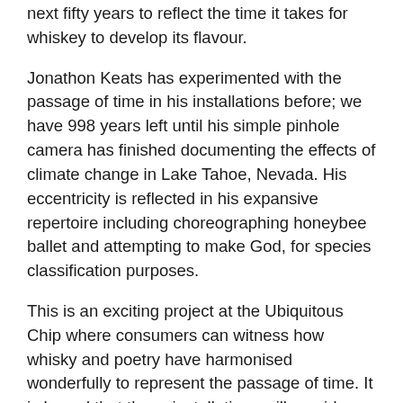next fifty years to reflect the time it takes for whiskey to develop its flavour.
Jonathon Keats has experimented with the passage of time in his installations before; we have 998 years left until his simple pinhole camera has finished documenting the effects of climate change in Lake Tahoe, Nevada. His eccentricity is reflected in his expansive repertoire including choreographing honeybee ballet and attempting to make God, for species classification purposes.
This is an exciting project at the Ubiquitous Chip where consumers can witness how whisky and poetry have harmonised wonderfully to represent the passage of time. It is hoped that these installations will provide solace from the currently instantaneous nature of mass-produced art and to kindle a passion for the process.